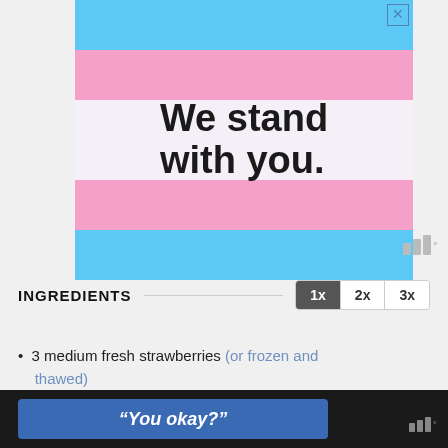[Figure (illustration): Advertisement banner with transgender pride flag colors (blue, pink, white stripes) and text 'We stand with you.' in large bold black font. Close button (X) in top right corner.]
[Figure (logo): Wired magazine logo (three bars and degree symbol) in gray]
INGREDIENTS
3 medium fresh strawberries (or frozen and thawed)
[Figure (illustration): Bottom navigation bar with blue button showing '"You okay?"' text and Wired logo]